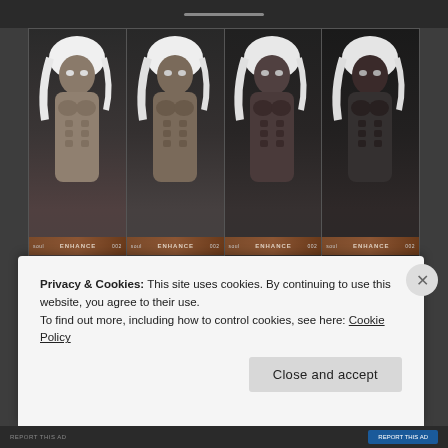[Figure (screenshot): Four fantasy/game character panels showing male figures with white hair and progressively darker skin tones (light gray to near-black), each panel showing a muscular shirtless figure. Each panel has a brand bar reading 'soul ENHANCE' with numbered badges (01, 02, 03, 04).]
REPORT THIS AD
Privacy & Cookies: This site uses cookies. By continuing to use this website, you agree to their use.
To find out more, including how to control cookies, see here: Cookie Policy
Close and accept